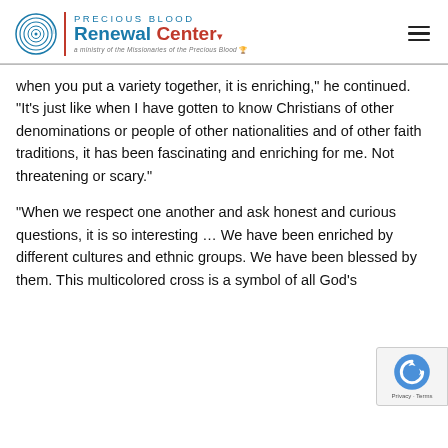Precious Blood Renewal Center — a ministry of the Missionaries of the Precious Blood
when you put a variety together, it is enriching," he continued. "It's just like when I have gotten to know Christians of other denominations or people of other nationalities and of other faith traditions, it has been fascinating and enriching for me. Not threatening or scary."
"When we respect one another and ask honest and curious questions, it is so interesting … We have been enriched by different cultures and ethnic groups. We have been blessed by them. This multicolored cross is a symbol of all God's